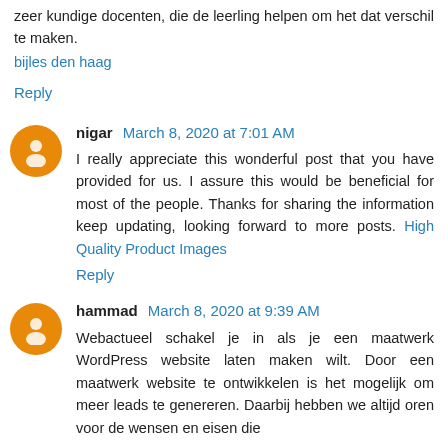zeer kundige docenten, die de leerling helpen om het dat verschil te maken.
bijles den haag
Reply
nigar March 8, 2020 at 7:01 AM
I really appreciate this wonderful post that you have provided for us. I assure this would be beneficial for most of the people. Thanks for sharing the information keep updating, looking forward to more posts. High Quality Product Images
Reply
hammad March 8, 2020 at 9:39 AM
Webactueel schakel je in als je een maatwerk WordPress website laten maken wilt. Door een maatwerk website te ontwikkelen is het mogelijk om meer leads te genereren. Daarbij hebben we altijd oren voor de wensen en eisen die